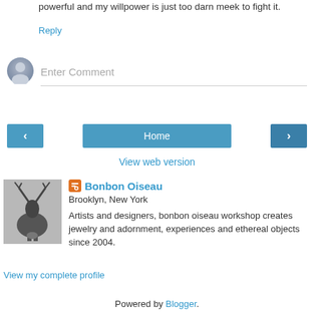powerful and my willpower is just too darn meek to fight it.
Reply
Enter Comment
Home
View web version
[Figure (photo): Profile photo showing a dark sculptural deer/stag figure with a person beneath it]
Bonbon Oiseau
Brooklyn, New York
Artists and designers, bonbon oiseau workshop creates jewelry and adornment, experiences and ethereal objects since 2004.
View my complete profile
Powered by Blogger.